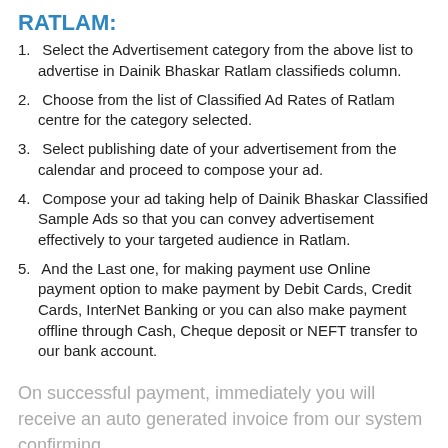RATLAM:
Select the Advertisement category from the above list to advertise in Dainik Bhaskar Ratlam classifieds column.
Choose from the list of Classified Ad Rates of Ratlam centre for the category selected.
Select publishing date of your advertisement from the calendar and proceed to compose your ad.
Compose your ad taking help of Dainik Bhaskar Classified Sample Ads so that you can convey advertisement effectively to your targeted audience in Ratlam.
And the Last one, for making payment use Online payment option to make payment by Debit Cards, Credit Cards, InterNet Banking or you can also make payment offline through Cash, Cheque deposit or NEFT transfer to our bank account.
On successful payment, immediately you will receive an auto generated invoice from our system confirming your Classified Ad booking and your ad will...